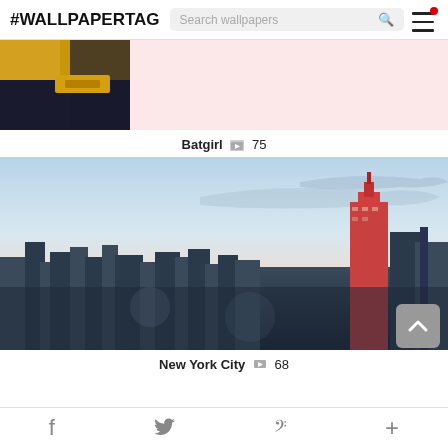#WALLPAPERTAG  Search wallpapers
[Figure (photo): Partial view of Batgirl comic/cartoon image — gold and dark navy colors visible at bottom left, pink background on right]
Batgirl  75
[Figure (photo): Aerial photo of New York City skyline at dusk with Empire State Building prominent on right, city sprawl in foreground, blue-pink sky]
New York City  68
f  (twitter bird)  P  +